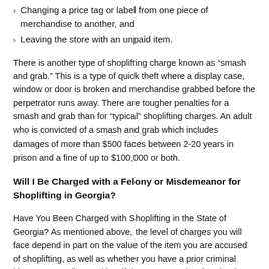Changing a price tag or label from one piece of merchandise to another, and
Leaving the store with an unpaid item.
There is another type of shoplifting charge known as “smash and grab.” This is a type of quick theft where a display case, window or door is broken and merchandise grabbed before the perpetrator runs away. There are tougher penalties for a smash and grab than for “typical” shoplifting charges. An adult who is convicted of a smash and grab which includes damages of more than $500 faces between 2-20 years in prison and a fine of up to $100,000 or both.
Will I Be Charged with a Felony or Misdemeanor for Shoplifting in Georgia?
Have You Been Charged with Shoplifting in the State of Georgia? As mentioned above, the level of charges you will face depend in part on the value of the item you are accused of shoplifting, as well as whether you have a prior criminal history. Generally speaking, if the property taken is valued at $500 or less, your crime will be punishable as a